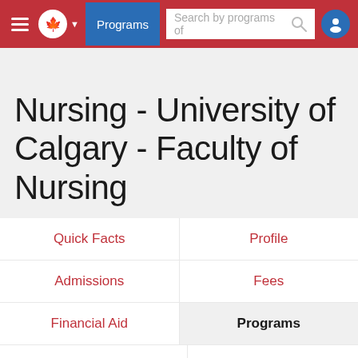Programs | Search by programs of
Nursing - University of Calgary - Faculty of Nursing
Quick Facts
Profile
Admissions
Fees
Financial Aid
Programs
Contact